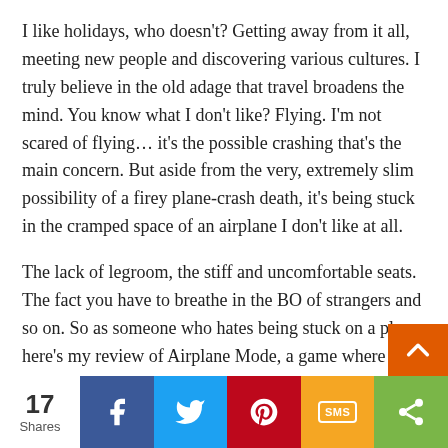I like holidays, who doesn't? Getting away from it all, meeting new people and discovering various cultures. I truly believe in the old adage that travel broadens the mind. You know what I don't like? Flying. I'm not scared of flying… it's the possible crashing that's the main concern. But aside from the very, extremely slim possibility of a firey plane-crash death, it's being stuck in the cramped space of an airplane I don't like at all.
The lack of legroom, the stiff and uncomfortable seats. The fact you have to breathe in the BO of strangers and so on. So as someone who hates being stuck on a plane, here's my review of Airplane Mode, a game where you're stuck on a plane.
Airplane Mode simulates all the excitement of bei
17 Shares | Facebook | Twitter | Pinterest | SMS | Share